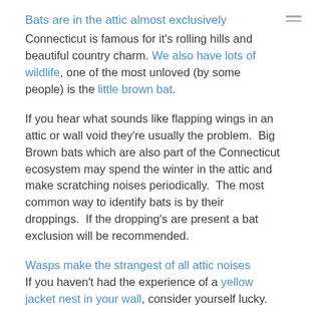Bats are in the attic almost exclusively
Connecticut is famous for it's rolling hills and beautiful country charm. We also have lots of wildlife, one of the most unloved (by some people) is the little brown bat.
If you hear what sounds like flapping wings in an attic or wall void they're usually the problem.  Big Brown bats which are also part of the Connecticut ecosystem may spend the winter in the attic and make scratching noises periodically.  The most common way to identify bats is by their droppings.  If the dropping's are present a bat exclusion will be recommended.
Wasps make the strangest of all attic noises
If you haven't had the experience of a yellow jacket nest in your wall, consider yourself lucky.